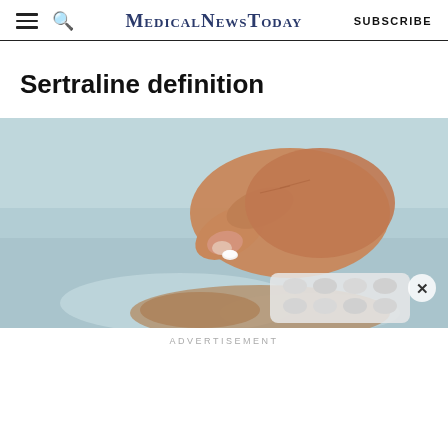MedicalNewsToday
Sertraline definition
[Figure (photo): Close-up of a hand picking up a small white pill from a blister pack, with a light teal background.]
ADVERTISEMENT